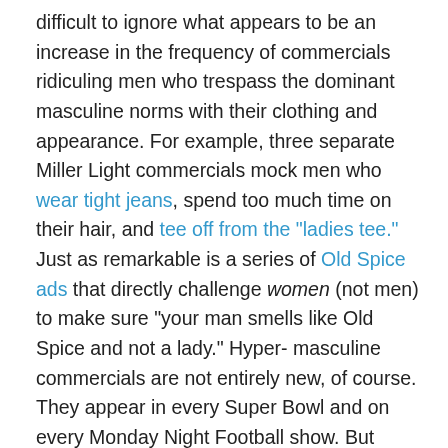difficult to ignore what appears to be an increase in the frequency of commercials ridiculing men who trespass the dominant masculine norms with their clothing and appearance. For example, three separate Miller Light commercials mock men who wear tight jeans, spend too much time on their hair, and tee off from the "ladies tee." Just as remarkable is a series of Old Spice ads that directly challenge women (not men) to make sure "your man smells like Old Spice and not a lady." Hyper-masculine commercials are not entirely new, of course. They appear in every Super Bowl and on every Monday Night Football show. But these recent commercials seem to carry a new intensity—as if there were suddenly more at stake. I suggest that such "tough comedy" commercials present us with a form of social control aimed at policing masculinity norms in direct response to a trend toward